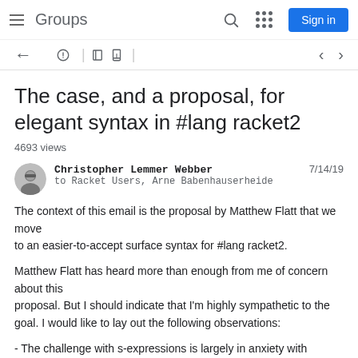Groups  Sign in
The case, and a proposal, for elegant syntax in #lang racket2
4693 views
Christopher Lemmer Webber  7/14/19
to Racket Users, Arne Babenhauserheide
The context of this email is the proposal by Matthew Flatt that we move
to an easier-to-accept surface syntax for #lang racket2.

Matthew Flatt has heard more than enough from me of concern about this
proposal. But I should indicate that I'm highly sympathetic to the
goal. I would like to lay out the following observations:

- The challenge with s-expressions is largely in anxiety with something
that looks extremely alien. I suspect there's more fear from…